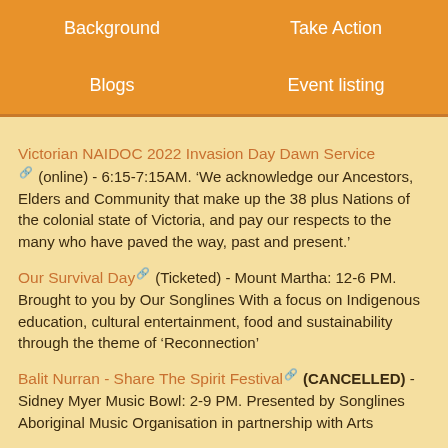Background | Take Action | Blogs | Event listing
Victorian NAIDOC 2022 Invasion Day Dawn Service (online) - 6:15-7:15AM. ‘We acknowledge our Ancestors, Elders and Community that make up the 38 plus Nations of the colonial state of Victoria, and pay our respects to the many who have paved the way, past and present.’
Our Survival Day (Ticketed) - Mount Martha: 12-6 PM. Brought to you by Our Songlines With a focus on Indigenous education, cultural entertainment, food and sustainability through the theme of ‘Reconnection’
Balit Nurran - Share The Spirit Festival (CANCELLED) - Sidney Myer Music Bowl: 2-9 PM. Presented by Songlines Aboriginal Music Organisation in partnership with Arts